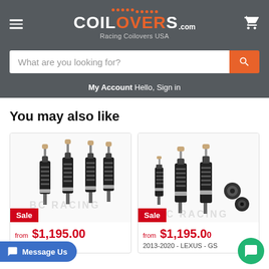COILOVERS.com Racing Coilovers USA
What are you looking for?
My Account Hello, Sign in
You may also like
[Figure (photo): Coilover suspension kit product photo with Sale badge, priced from $1,195.00, for LEXUS GS]
[Figure (photo): Coilover suspension kit product photo with Sale badge, priced from $1,195.00, for 2013-2020 LEXUS GS]
from $1,195.00
LEXUS - GS
from $1,195.00
2013-2020 - LEXUS - GS
Message Us